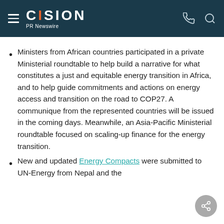CISION PR Newswire
Ministers from African countries participated in a private Ministerial roundtable to help build a narrative for what constitutes a just and equitable energy transition in Africa, and to help guide commitments and actions on energy access and transition on the road to COP27. A communique from the represented countries will be issued in the coming days. Meanwhile, an Asia-Pacific Ministerial roundtable focused on scaling-up finance for the energy transition.
New and updated Energy Compacts were submitted to UN-Energy from Nepal and the